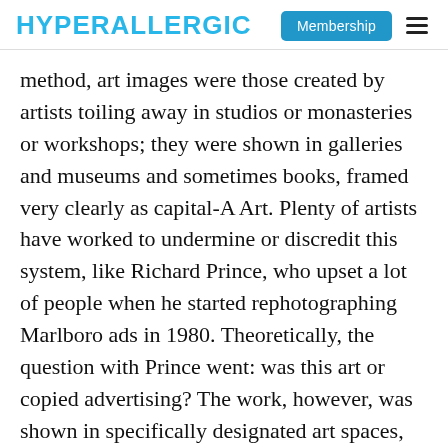HYPERALLERGIC
method, art images were those created by artists toiling away in studios or monasteries or workshops; they were shown in galleries and museums and sometimes books, framed very clearly as capital-A Art. Plenty of artists have worked to undermine or discredit this system, like Richard Prince, who upset a lot of people when he started rephotographing Marlboro ads in 1980. Theoretically, the question with Prince went: was this art or copied advertising? The work, however, was shown in specifically designated art spaces, with Prince’s name clearly attached to it. It was undoubtedly art, even if